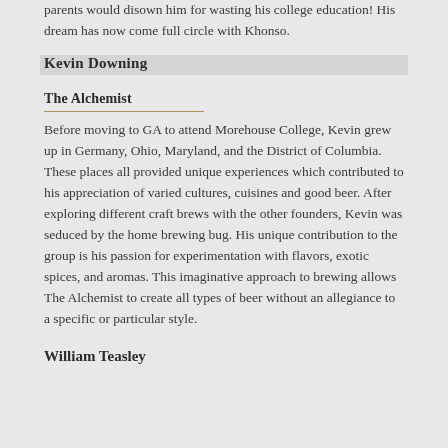parents would disown him for wasting his college education! His dream has now come full circle with Khonso.
Kevin Downing
The Alchemist
Before moving to GA to attend Morehouse College, Kevin grew up in Germany, Ohio, Maryland, and the District of Columbia. These places all provided unique experiences which contributed to his appreciation of varied cultures, cuisines and good beer. After exploring different craft brews with the other founders, Kevin was seduced by the home brewing bug. His unique contribution to the group is his passion for experimentation with flavors, exotic spices, and aromas. This imaginative approach to brewing allows The Alchemist to create all types of beer without an allegiance to a specific or particular style.
William Teasley